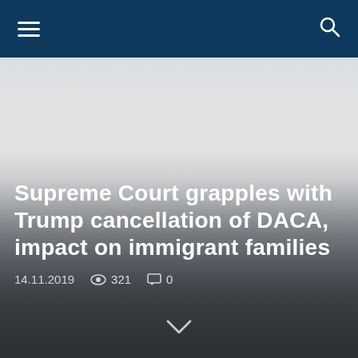Navigation bar with hamburger menu and search icon
[Figure (photo): Hero image with light-to-dark gradient overlay, gray tones, representing a news article background]
Supreme Court grapples with Trump cancellation of DACA, impact on immigrant families
14.11.2019  👁 321  💬 0